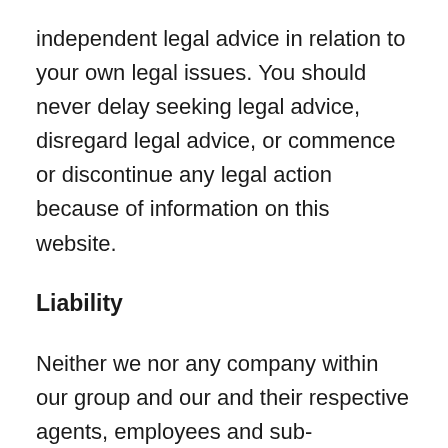independent legal advice in relation to your own legal issues. You should never delay seeking legal advice, disregard legal advice, or commence or discontinue any legal action because of information on this website.
Liability
Neither we nor any company within our group and our and their respective agents, employees and sub-contractors shall be liable to you or any other party for any losses or damages whatsoever or howsoever